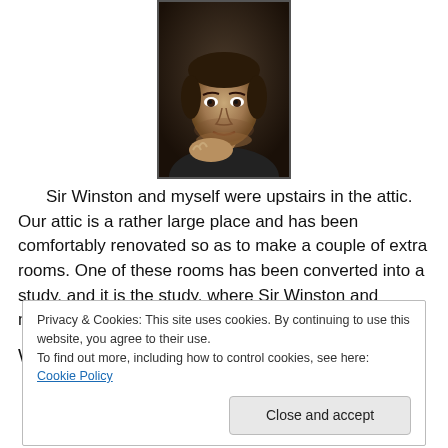[Figure (photo): Black and white portrait photo of a man with dark curly hair, resting his chin on his hand, looking directly at the camera.]
Sir Winston and myself were upstairs in the attic.  Our attic is a  rather large place and has  been comfortably renovated so as to make a couple of extra rooms.  One of these rooms has been converted into a study, and it is the study,  where Sir Winston and myself often “hang-out”.
We  heard a commotion coming from below.
Privacy & Cookies: This site uses cookies. By continuing to use this website, you agree to their use.
To find out more, including how to control cookies, see here: Cookie Policy